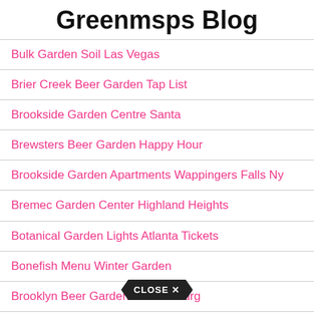Greenmsps Blog
Bulk Garden Soil Las Vegas
Brier Creek Beer Garden Tap List
Brookside Garden Centre Santa
Brewsters Beer Garden Happy Hour
Brookside Garden Apartments Wappingers Falls Ny
Bremec Garden Center Highland Heights
Botanical Garden Lights Atlanta Tickets
Bonefish Menu Winter Garden
Brooklyn Beer Garden Williamsburg
Brookside Garden Apartments Harriman Ny
Bluegrass Lawn And Garden Hours